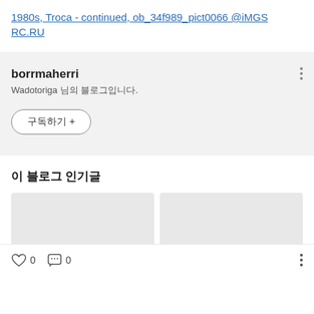1980s, Troca - continued, ob_34f989_pict0066 @iMGSRC.RU
borrmaherri
Wadotoriga 님의 블로그입니다.
구독하기 +
이 블로그 인기글
[Figure (photo): Two thumbnail image placeholders with loading dots]
0  0